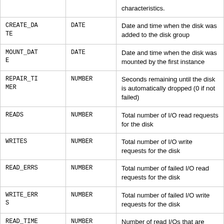| Column | Type | Description |
| --- | --- | --- |
|  |  | characteristics. |
| CREATE_DATE | DATE | Date and time when the disk was added to the disk group |
| MOUNT_DATE | DATE | Date and time when the disk was mounted by the first instance |
| REPAIR_TIMER | NUMBER | Seconds remaining until the disk is automatically dropped (0 if not failed) |
| READS | NUMBER | Total number of I/O read requests for the disk |
| WRITES | NUMBER | Total number of I/O write requests for the disk |
| READ_ERRS | NUMBER | Total number of failed I/O read requests for the disk |
| WRITE_ERRS | NUMBER | Total number of failed I/O write requests for the disk |
| READ_TIME | NUMBER | Number of read I/Os that are timed |